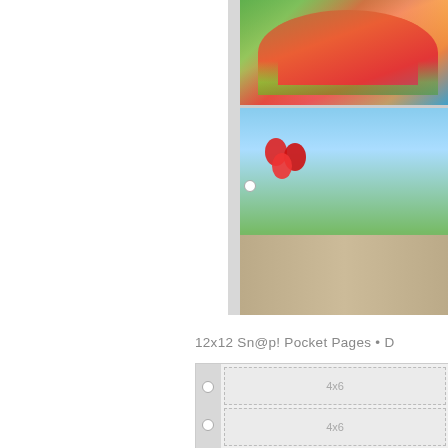[Figure (photo): Top-right photo showing two images: top portion with watermelon slices, bottom portion with two children and a dog walking on a dirt road with red balloons]
12x12 Sn@p! Pocket Pages • D
[Figure (illustration): A pocket page template showing two 4x6 pockets stacked vertically, with binder holes on the left side and dotted stitch border around each pocket]